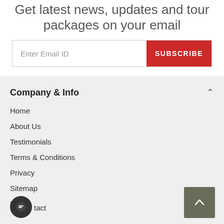Get latest news, updates and tour packages on your email
Enter Email ID
SUBSCRIBE
Company & Info
Home
About Us
Testimonials
Terms & Conditions
Privacy
Sitemap
Blog
Contact